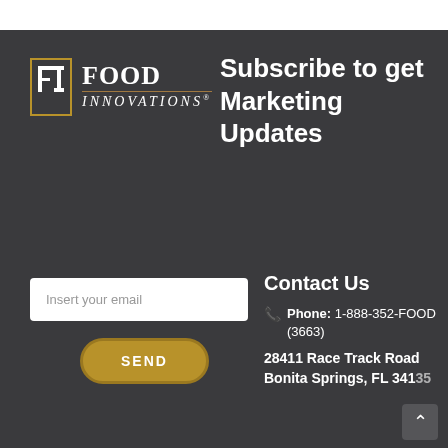[Figure (logo): Food Innovations logo with stylized FI icon and text]
Subscribe to get Marketing Updates
Insert your email
SEND
Contact Us
Phone: 1-888-352-FOOD (3663)
28411 Race Track Road Bonita Springs, FL 3413X